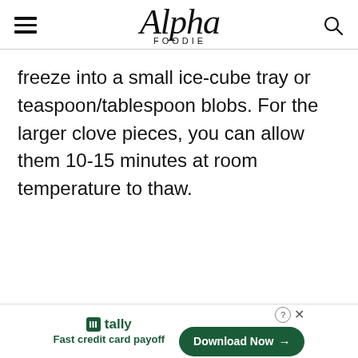Alpha Foodie
freeze into a small ice-cube tray or teaspoon/tablespoon blobs. For the larger clove pieces, you can allow them 10-15 minutes at room temperature to thaw.
[Figure (other): Tally advertisement banner: 'Fast credit card payoff' with Download Now button]